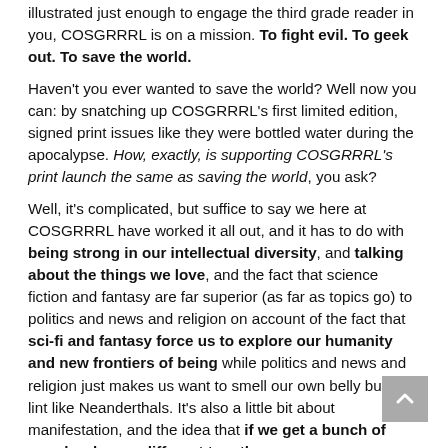illustrated just enough to engage the third grade reader in you, COSGRRRL is on a mission. To fight evil. To geek out. To save the world.
Haven't you ever wanted to save the world? Well now you can: by snatching up COSGRRRL's first limited edition, signed print issues like they were bottled water during the apocalypse. How, exactly, is supporting COSGRRRL's print launch the same as saving the world, you ask?
Well, it's complicated, but suffice to say we here at COSGRRRL have worked it all out, and it has to do with being strong in our intellectual diversity, and talking about the things we love, and the fact that science fiction and fantasy are far superior (as far as topics go) to politics and news and religion on account of the fact that sci-fi and fantasy force us to explore our humanity and new frontiers of being while politics and news and religion just makes us want to smell our own belly button lint like Neanderthals. It's also a little bit about manifestation, and the idea that if we get a bunch of people who are different together